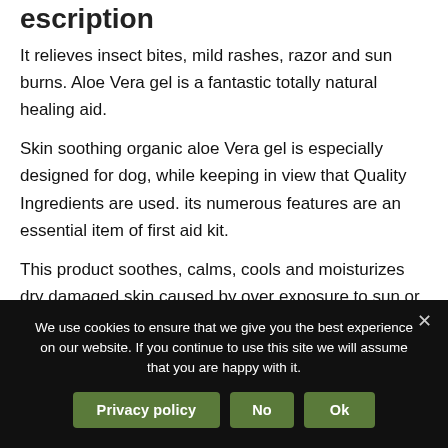Description
It relieves insect bites, mild rashes, razor and sun burns. Aloe Vera gel is a fantastic totally natural healing aid.
Skin soothing organic aloe Vera gel is especially designed for dog, while keeping in view that Quality Ingredients are used. its numerous features are an essential item of first aid kit.
This product soothes, calms, cools and moisturizes dry damaged skin caused by over exposure to sun or wind.
We use cookies to ensure that we give you the best experience on our website. If you continue to use this site we will assume that you are happy with it.